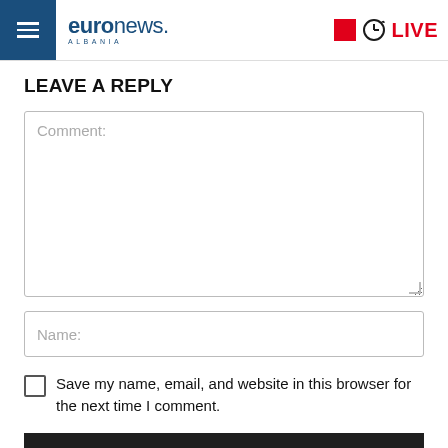euronews. ALBANIA — LIVE
LEAVE A REPLY
Comment:
Name:
Save my name, email, and website in this browser for the next time I comment.
POST COMMENT